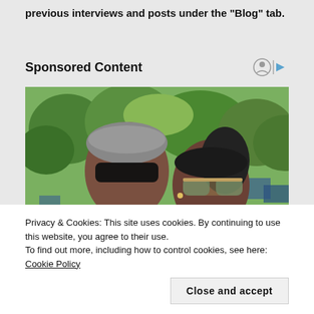previous interviews and posts under the "Blog" tab.
Sponsored Content
[Figure (photo): Photo of two people wearing sunglasses outdoors with green trees and blue structures in the background.]
Privacy & Cookies: This site uses cookies. By continuing to use this website, you agree to their use.
To find out more, including how to control cookies, see here: Cookie Policy
Close and accept